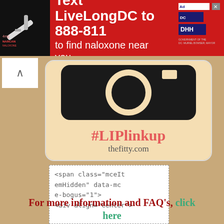[Figure (screenshot): Red advertisement banner: 'Text LiveLongDC to 888-811 to find naloxone near you.' with DC government logos on the right and a syringe image on the left.]
[Figure (screenshot): A card-style image showing a camera icon on a beige rounded rectangle background with '#LIPlinkup' in coral/red text and 'thefitty.com' below in grey text.]
[Figure (screenshot): A dashed-border code snippet box showing HTML: <span class="mceItemHidden" data-mce-bogus="1"> <div align="center">]
For more information and FAQ's, click here